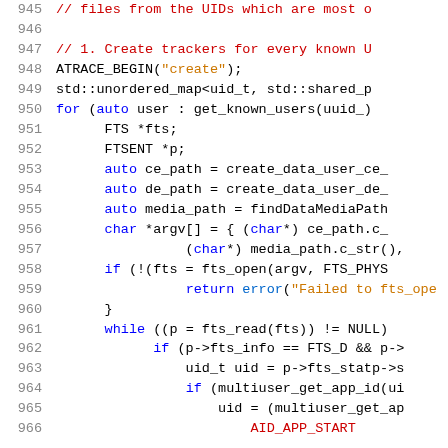Source code listing, lines 945–966, C++ code for file tracking with FTS
945  // files from the UIDs which are most o
946  (blank)
947  // 1. Create trackers for every known U
948  ATRACE_BEGIN("create");
949  std::unordered_map<uid_t, std::shared_p
950  for (auto user : get_known_users(uuid_)
951      FTS *fts;
952      FTSENT *p;
953      auto ce_path = create_data_user_ce_
954      auto de_path = create_data_user_de_
955      auto media_path = findDataMediaPath
956      char *argv[] = { (char*) ce_path.c_
957              (char*) media_path.c_str(),
958      if (!(fts = fts_open(argv, FTS_PHYS
959              return error("Failed to fts_ope
960      }
961      while ((p = fts_read(fts)) != NULL)
962          if (p->fts_info == FTS_D && p->
963              uid_t uid = p->fts_statp->s
964              if (multiuser_get_app_id(ui
965                  uid = (multiuser_get_ap
966  ...AID_APP_START...